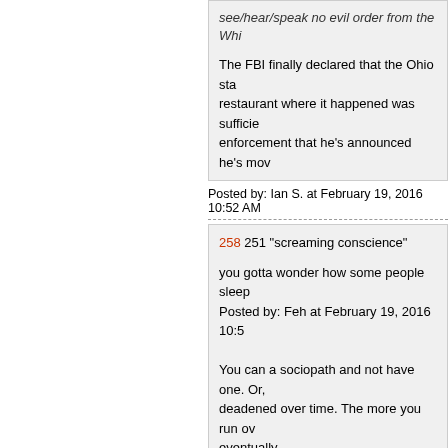see/hear/speak no evil order from the Whi...
The FBI finally declared that the Ohio stab... restaurant where it happened was sufficien... enforcement that he's announced he's mov...
Posted by: Ian S. at February 19, 2016 10:52 AM
258 251 "screaming conscience"
you gotta wonder how some people sleep... Posted by: Feh at February 19, 2016 10:51...
You can a sociopath and not have one. Or... deadened over time. The more you run ov... eventually.
Posted by: Insomniac - Pale Horse/Death 2016 at...
259 "you gotta wonder how some people s..."
All the drugs.
Posted by: Lauren at February 19, 2016 10:52 AM